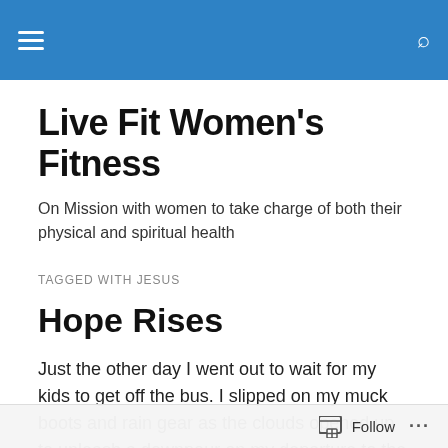Live Fit Women's Fitness — navigation header bar
Live Fit Women's Fitness
On Mission with women to take charge of both their physical and spiritual health
TAGGED WITH JESUS
Hope Rises
Just the other day I went out to wait for my kids to get off the bus. I slipped on my muck boots and rain gear as the clouds opened up to unleash a downpour on my departure to the bus stop. I fought the rain trying to remain dry and
Follow